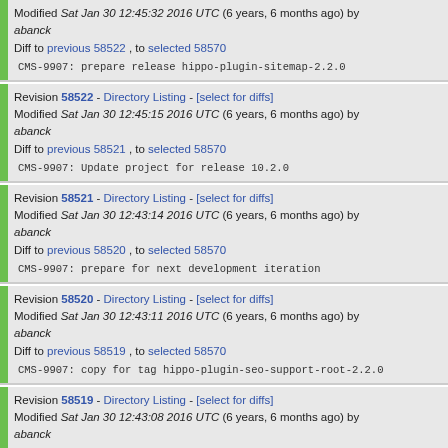Revision 58522 - Directory Listing - [select for diffs] Modified Sat Jan 30 12:45:32 2016 UTC (6 years, 6 months ago) by abanck Diff to previous 58522 , to selected 58570 CMS-9907: prepare release hippo-plugin-sitemap-2.2.0
Revision 58522 - Directory Listing - [select for diffs] Modified Sat Jan 30 12:45:15 2016 UTC (6 years, 6 months ago) by abanck Diff to previous 58521 , to selected 58570 CMS-9907: Update project for release 10.2.0
Revision 58521 - Directory Listing - [select for diffs] Modified Sat Jan 30 12:43:14 2016 UTC (6 years, 6 months ago) by abanck Diff to previous 58520 , to selected 58570 CMS-9907: prepare for next development iteration
Revision 58520 - Directory Listing - [select for diffs] Modified Sat Jan 30 12:43:11 2016 UTC (6 years, 6 months ago) by abanck Diff to previous 58519 , to selected 58570 CMS-9907: copy for tag hippo-plugin-seo-support-root-2.2.0
Revision 58519 - Directory Listing - [select for diffs] Modified Sat Jan 30 12:43:08 2016 UTC (6 years, 6 months ago) by abanck Diff to previous 58518 , to selected 58570 CMS-9907: prepare release hippo-plugin-seo-support-root-2.2.0
Revision 58518 - Directory Listing - [select for diffs]